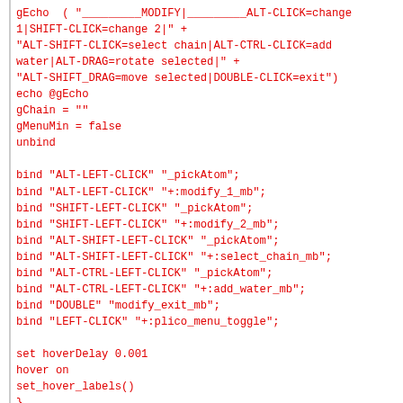gEcho  ( "_________MODIFY|_________ALT-CLICK=change 1|SHIFT-CLICK=change 2|" +
"ALT-SHIFT-CLICK=select chain|ALT-CTRL-CLICK=add water|ALT-DRAG=rotate selected|" +
"ALT-SHIFT_DRAG=move selected|DOUBLE-CLICK=exit")
echo @gEcho
gChain = ""
gMenuMin = false
unbind

bind "ALT-LEFT-CLICK" "_pickAtom";
bind "ALT-LEFT-CLICK" "+:modify_1_mb";
bind "SHIFT-LEFT-CLICK" "_pickAtom";
bind "SHIFT-LEFT-CLICK" "+:modify_2_mb";
bind "ALT-SHIFT-LEFT-CLICK" "_pickAtom";
bind "ALT-SHIFT-LEFT-CLICK" "+:select_chain_mb";
bind "ALT-CTRL-LEFT-CLICK" "_pickAtom";
bind "ALT-CTRL-LEFT-CLICK" "+:add_water_mb";
bind "DOUBLE" "modify_exit_mb";
bind "LEFT-CLICK" "+:plico_menu_toggle";

set hoverDelay 0.001
hover on
set_hover_labels()
}

# End of MODIFY_CPT